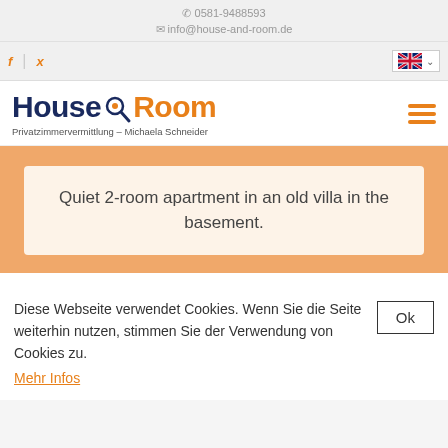☎ 0581-9488593
✉ info@house-and-room.de
[Figure (logo): House & Room logo with magnifying glass icon, subtitle: Privatzimmervermittlung - Michaela Schneider]
Quiet 2-room apartment in an old villa in the basement.
Diese Webseite verwendet Cookies. Wenn Sie die Seite weiterhin nutzen, stimmen Sie der Verwendung von Cookies zu. Mehr Infos